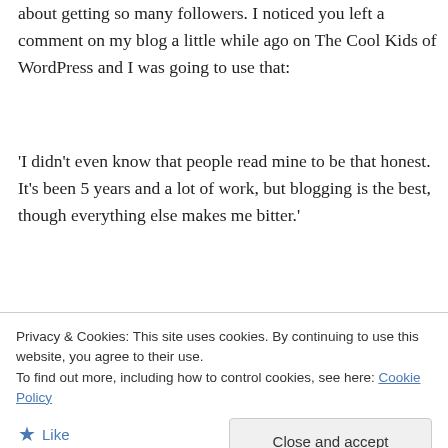about getting so many followers. I noticed you left a comment on my blog a little while ago on The Cool Kids of WordPress and I was going to use that:
'I didn't even know that people read mine to be that honest. It's been 5 years and a lot of work, but blogging is the best, though everything else makes me bitter.'
Let me know if you'd like me to use something else. Though I think it's pretty much perfectly
Privacy & Cookies: This site uses cookies. By continuing to use this website, you agree to their use.
To find out more, including how to control cookies, see here: Cookie Policy
Like